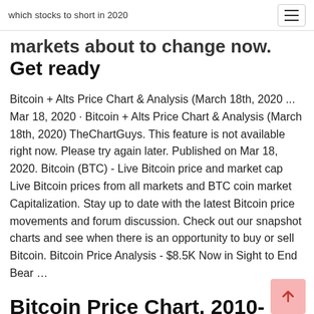which stocks to short in 2020
markets about to change now. Get ready
Bitcoin + Alts Price Chart & Analysis (March 18th, 2020 ... Mar 18, 2020 · Bitcoin + Alts Price Chart & Analysis (March 18th, 2020) TheChartGuys. This feature is not available right now. Please try again later. Published on Mar 18, 2020. Bitcoin (BTC) - Live Bitcoin price and market cap Live Bitcoin prices from all markets and BTC coin market Capitalization. Stay up to date with the latest Bitcoin price movements and forum discussion. Check out our snapshot charts and see when there is an opportunity to buy or sell Bitcoin. Bitcoin Price Analysis - $8.5K Now in Sight to End Bear ...
Bitcoin Price Chart, 2010-2020. This graph shows the conversion rate of 1